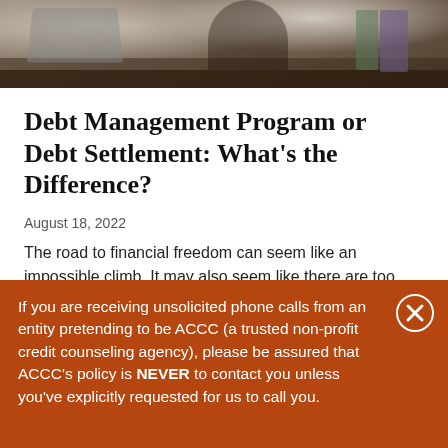[Figure (photo): Person sitting at a desk with a laptop, viewed from above/side, dark tones]
Debt Management Program or Debt Settlement: What's the Difference?
August 18, 2022
The road to financial freedom can seem like an impossible climb. It may also seem like there are too
If you are receiving unsolicited phone calls from an entity pretending to be ACCC (a trusted non-profit credit counseling agency), please be assured that ACCC's policy is NEVER to contact you unless you've explicitly requested for us to call you.